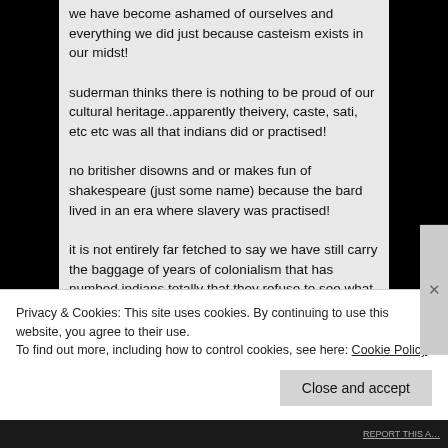we have become ashamed of ourselves and everything we did just because casteism exists in our midst!
suderman thinks there is nothing to be proud of our cultural heritage..apparently theivery, caste, sati, etc etc was all that indians did or practised!
no britisher disowns and or makes fun of shakespeare (just some name) because the bard lived in an era where slavery was practised!
it is not entirely far fetched to say we have still carry the baggage of years of colonialism that has numbed indians totally that they refuse to see what is/was good in their culture and what is/was bad. everything gets clubbed with
Privacy & Cookies: This site uses cookies. By continuing to use this website, you agree to their use.
To find out more, including how to control cookies, see here: Cookie Policy
Close and accept
REPORT THIS A…